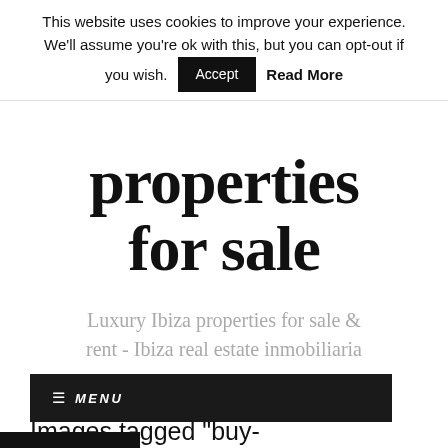This website uses cookies to improve your experience. We'll assume you're ok with this, but you can opt-out if you wish. Accept Read More
properties for sale
Luxury Ibiza properties for sale & rent - Ibiza real estate inmobiliaria
≡ MENU
Images tagged "buy-property-ibiza"